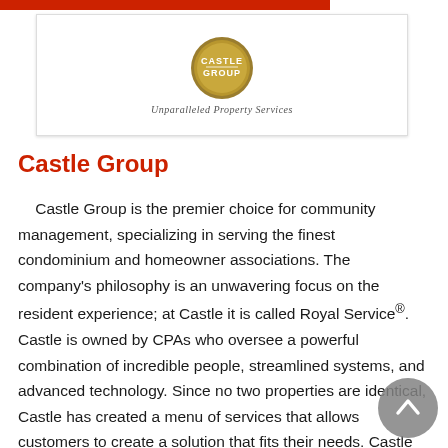[Figure (logo): Castle Group logo — gold circular emblem with 'CASTLE GROUP' text, below which reads the tagline 'Unparalleled Property Services' in italic serif font. A red horizontal bar is visible at top-left, above a white card containing the logo.]
Castle Group
Castle Group is the premier choice for community management, specializing in serving the finest condominium and homeowner associations. The company's philosophy is an unwavering focus on the resident experience; at Castle it is called Royal Service®. Castle is owned by CPAs who oversee a powerful combination of incredible people, streamlined systems, and advanced technology. Since no two properties are identical, Castle has created a menu of services that allows customers to create a solution that fits their needs. Castle does not manage an exceptional number of communities, just a number of exceptional ones.